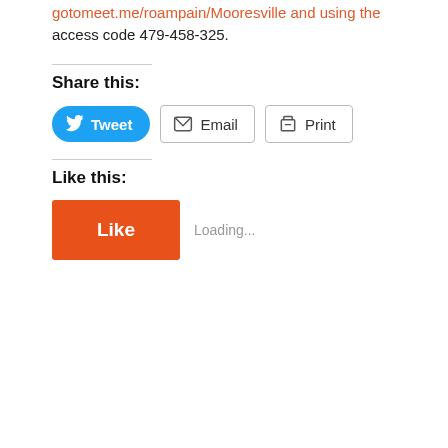gotomeet.me/roampain/Mooresville and using the access code 479-458-325.
Share this:
[Figure (screenshot): Social sharing buttons: Tweet (blue rounded), Email (outlined), Print (outlined)]
Like this:
[Figure (screenshot): WordPress Like button (orange rectangle) with 'Like' label, followed by 'Loading...' text]